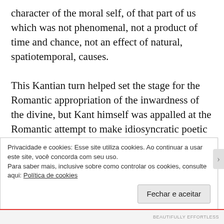character of the moral self, of that part of us which was not phenomenal, not a product of time and chance, not an effect of natural, spatiotemporal, causes.

This Kantian turn helped set the stage for the Romantic appropriation of the inwardness of the divine, but Kant himself was appalled at the Romantic attempt to make idiosyncratic poetic imagination, rather than what he called the “common moral consciouness,” the center of
Privacidade e cookies: Esse site utiliza cookies. Ao continuar a usar este site, você concorda com seu uso.
Para saber mais, inclusive sobre como controlar os cookies, consulte aqui: Política de cookies
Fechar e aceitar